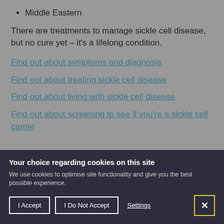Middle Eastern
There are treatments to manage sickle cell disease, but no cure yet – it's a lifelong condition.
Find out about symptoms and diagnosis
Find out about treating sickle cell disease
Find out about living with sickle cell disease
Find out about screening to see if you're a sickle cell carrier
Your choice regarding cookies on this site
We use cookies to optimise site functionality and give you the best possible experience.
I Accept | I Do Not Accept | Settings | X